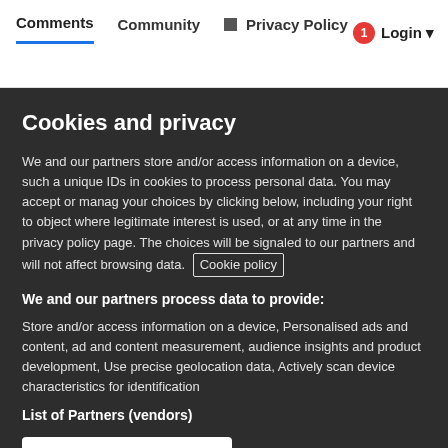Comments  Community  Privacy Policy  Login
Cookies and privacy
We and our partners store and/or access information on a device, such as unique IDs in cookies to process personal data. You may accept or manage your choices by clicking below, including your right to object where legitimate interest is used, or at any time in the privacy policy page. These choices will be signaled to our partners and will not affect browsing data. Cookie policy
We and our partners process data to provide:
Store and/or access information on a device, Personalised ads and content, ad and content measurement, audience insights and product development, Use precise geolocation data, Actively scan device characteristics for identification
List of Partners (vendors)
I Accept